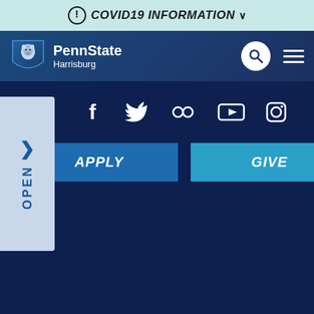COVID19 INFORMATION
[Figure (logo): Penn State Harrisburg logo with lion shield]
[Figure (screenshot): Social media icons: Facebook, Twitter, Flickr, YouTube, Instagram]
APPLY
GIVE
THIS IS PENN STATE
ACADEMICS
ADMISSION
TUITION & FINANCIAL AID